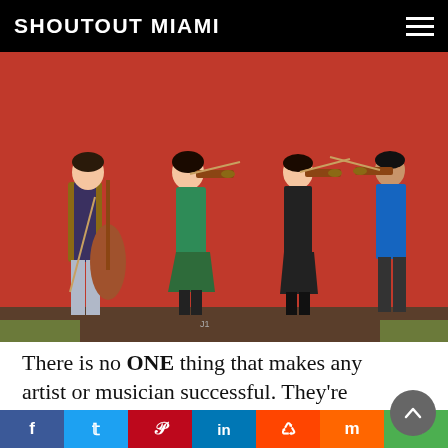SHOUTOUT MIAMI
[Figure (photo): Four young musicians standing against a bright red wall outdoors. From left: a young woman holding a cello with bow, a young woman in a green dress playing violin, a young woman in a dark dress playing violin, and a young man in a blue shirt playing violin.]
There is no ONE thing that makes any artist or musician successful. They’re all important because any number of things can neuter all of your hard work. Think you have to be very